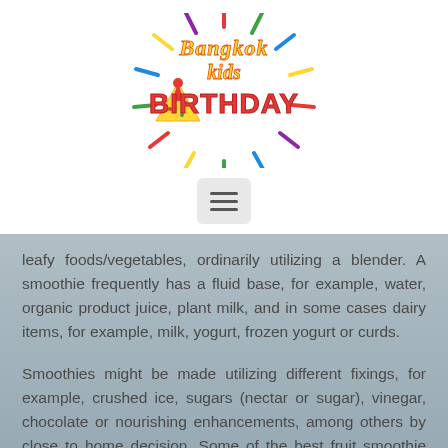[Figure (logo): Bangkok Kids Birthday colorful logo with party hat and fireworks/confetti burst]
[Figure (other): Hamburger menu button (three horizontal lines) in a rounded rectangle]
leafy foods/vegetables, ordinarily utilizing a blender. A smoothie frequently has a fluid base, for example, water, organic product juice, plant milk, and in some cases dairy items, for example, milk, yogurt, frozen yogurt or curds.
Smoothies might be made utilizing different fixings, for example, crushed ice, sugars (nectar or sugar), vinegar, chocolate or nourishing enhancements, among others by close to home decision. Some of the best fruit smoothie sort for kids' birthdays are the ones that...